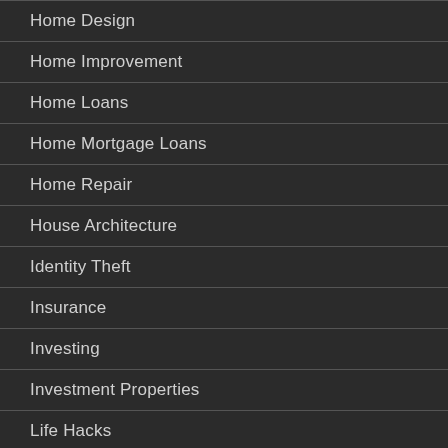Home Design
Home Improvement
Home Loans
Home Mortgage Loans
Home Repair
House Architecture
Identity Theft
Insurance
Investing
Investment Properties
Life Hacks